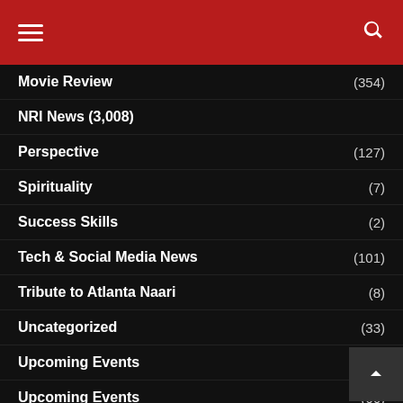Navigation menu with hamburger icon and search icon on red background
Movie Review (354)
NRI News (3,008)
Perspective (127)
Spirituality (7)
Success Skills (2)
Tech & Social Media News (101)
Tribute to Atlanta Naari (8)
Uncategorized (33)
Upcoming Events (153)
Upcoming Events (66)
What's Cooking? (114)
Women
Youth (8)